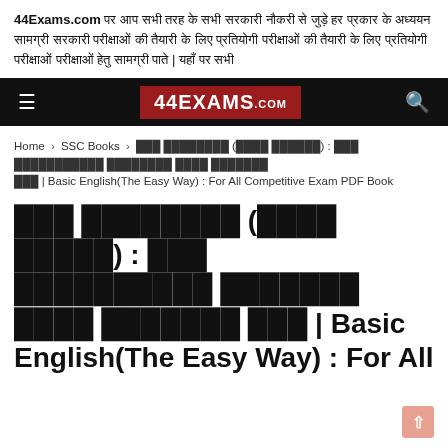44Exams.com पर आप सभी तरह के सभी सरकारी नौकरी से जुड़े हर प्रकार के अध्ययन सामग्री सरकारी परीक्षाओं की तैयारी के लिए प्रतियोगी परीक्षाओं परीक्षाओं हेतु सामग्री पाते | यहाँ पर सभी
[Figure (logo): 44EXAMS.com navigation bar with hamburger menu on left, logo in center on dark red background, and search icon on right, all on black background]
Home > SSC Books > बेसिक अंग्रेजी (आसान तरीका) : सभी प्रतियोगी परीक्षाओं हेतु पीडीएफ बुक | Basic English(The Easy Way) : For All Competitive Exam PDF Book
बेसिक अंग्रेजी (आसान तरीका) : सभी प्रतियोगी परीक्षाओं हेतु पीडीएफ बुक | Basic English(The Easy Way) : For All